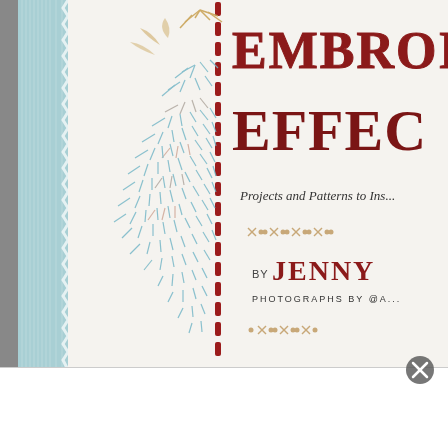[Figure (photo): Book cover of an embroidery book showing the title 'EMBROIDERY EFFECTS' in large red stitched letters, with embroidered pine cone and floral designs on white fabric. A light blue striped border with a red dashed stitch line on the left. Subtitle reads 'Projects and Patterns to Ins...' with 'BY JENNY' and 'PHOTOGRAPHS BY @A...' text visible. Decorative cross-stitch border elements shown. The bottom portion shows a white area with a close/X button overlay.]